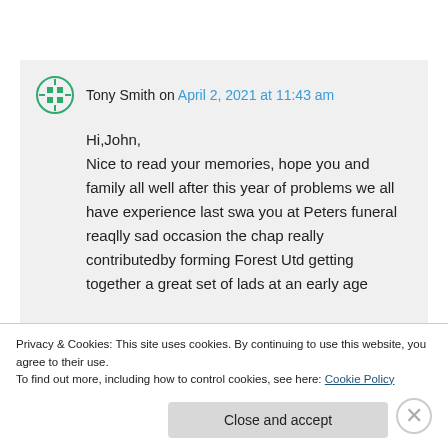Tony Smith on April 2, 2021 at 11:43 am
Hi,John,
Nice to read your memories, hope you and family all well after this year of problems we all have experience last swa you at Peters funeral reaqlly sad occasion the chap really contributedby forming Forest Utd getting together a great set of lads at an early age
Privacy & Cookies: This site uses cookies. By continuing to use this website, you agree to their use.
To find out more, including how to control cookies, see here: Cookie Policy
Close and accept